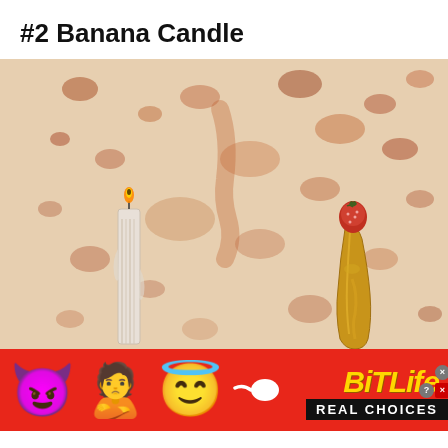#2 Banana Candle
[Figure (photo): Close-up photo of a real white birthday candle next to a banana peel shaped like a candle with a strawberry on top, against a speckled brownish-white background resembling a crepe or pancake.]
[Figure (photo): Advertisement banner for BitLife app with red background, featuring devil, person, and angel emoji, a sperm icon, and the BitLife logo with 'REAL CHOICES' text in black bar.]